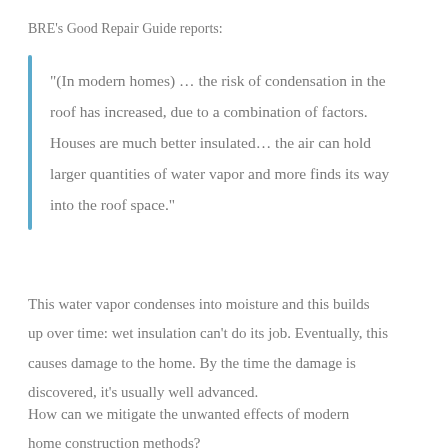BRE's Good Repair Guide reports:
“(In modern homes) … the risk of condensation in the roof has increased, due to a combination of factors. Houses are much better insulated… the air can hold larger quantities of water vapor and more finds its way into the roof space.”
This water vapor condenses into moisture and this builds up over time: wet insulation can’t do its job. Eventually, this causes damage to the home. By the time the damage is discovered, it’s usually well advanced.
How can we mitigate the unwanted effects of modern home construction methods?